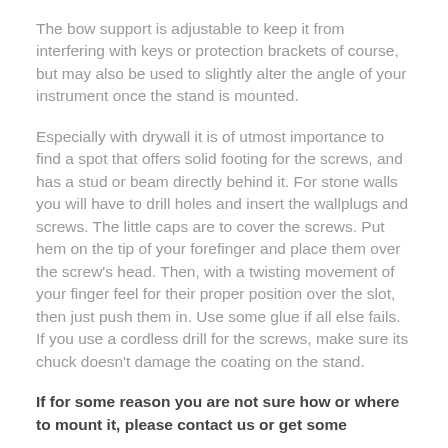The bow support is adjustable to keep it from interfering with keys or protection brackets of course, but may also be used to slightly alter the angle of your instrument once the stand is mounted.
Especially with drywall it is of utmost importance to find a spot that offers solid footing for the screws, and has a stud or beam directly behind it. For stone walls you will have to drill holes and insert the wallplugs and screws. The little caps are to cover the screws. Put hem on the tip of your forefinger and place them over the screw's head. Then, with a twisting movement of your finger feel for their proper position over the slot, then just push them in. Use some glue if all else fails.
If you use a cordless drill for the screws, make sure its chuck doesn't damage the coating on the stand.
If for some reason you are not sure how or where to mount it, please contact us or get some